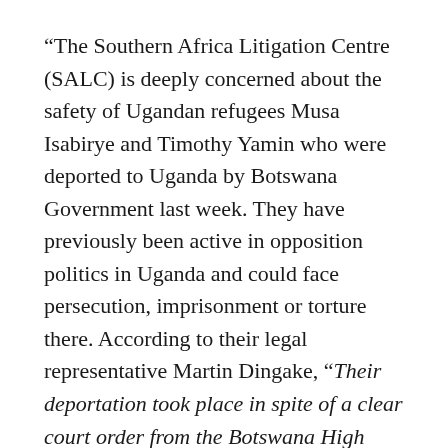“The Southern Africa Litigation Centre (SALC) is deeply concerned about the safety of Ugandan refugees Musa Isabirye and Timothy Yamin who were deported to Uganda by Botswana Government last week. They have previously been active in opposition politics in Uganda and could face persecution, imprisonment or torture there. According to their legal representative Martin Dingake, “Their deportation took place in spite of a clear court order from the Botswana High Court interdicting such deportation. As a result the deportation is in flagrant contempt of the order of court and displays a shocking disregard by the Government of Botswana for the rule of law”